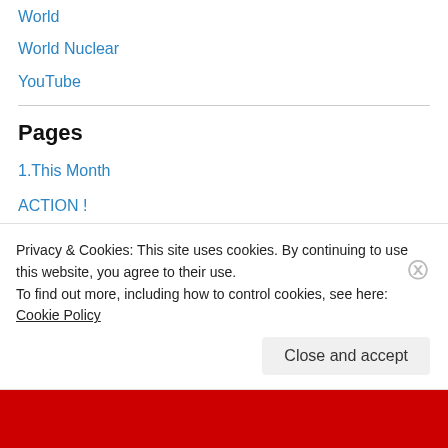World
World Nuclear
YouTube
Pages
1.This Month
ACTION !
Disclaimer
Links
PAGES on NUCLEAR ISSUES
audio-visual news
Anti Nuclear, Clean Energy Movement
Privacy & Cookies: This site uses cookies. By continuing to use this website, you agree to their use.
To find out more, including how to control cookies, see here: Cookie Policy
Close and accept